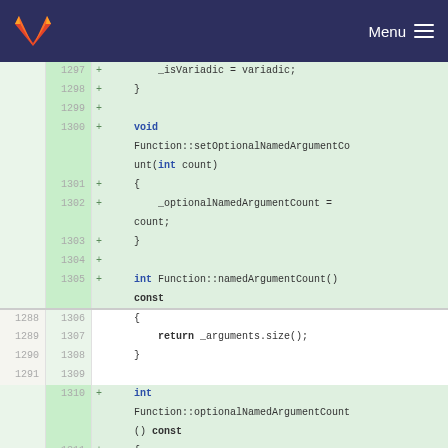GitLab Menu
[Figure (screenshot): GitLab code diff view showing added lines (green background) for C++ function definitions: setOptionalNamedArgumentCount and namedArgumentCount and optionalNamedArgumentCount, with line numbers in two columns (old and new).]